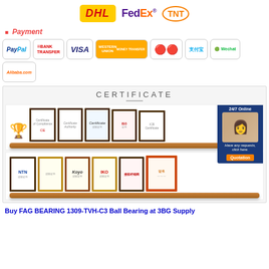[Figure (logo): Shipping logos: DHL, FedEx, TNT]
Payment
[Figure (logo): Payment method logos: PayPal, Bank Transfer, VISA, Western Union, MasterCard, Alipay, Wechat, Alibaba.com]
[Figure (illustration): Certificate section showing two shelves with framed certificates, a trophy, and a customer service overlay with 24/7 Online support agent]
Buy FAG BEARING 1309-TVH-C3 Ball Bearing at 3BG Supply